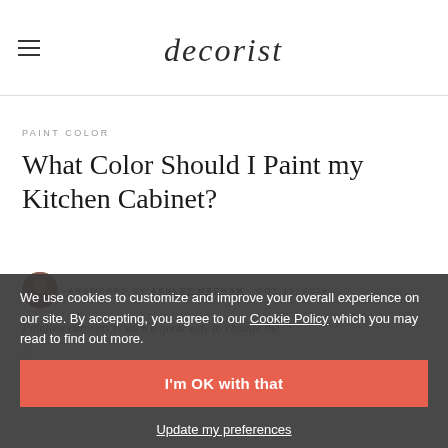decorist
PAINT COLOR
What Color Should I Paint my Kitchen Cabinet?
ANSWERED BY ASHLEY MECHAM · OCT 19, 2019
Painting cabinets is such a great way to change the ... choosing the right paint is the easy part, using the same pai...
We use cookies to customize and improve your overall experience on our site. By accepting, you agree to our Cookie Policy which you may read to find out more.
I'm OK with that
Update my preferences